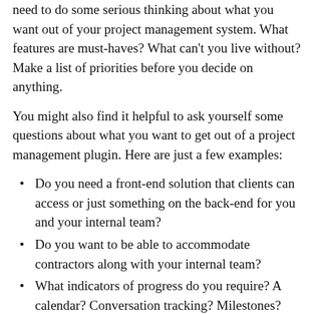need to do some serious thinking about what you want out of your project management system. What features are must-haves? What can't you live without? Make a list of priorities before you decide on anything.
You might also find it helpful to ask yourself some questions about what you want to get out of a project management plugin. Here are just a few examples:
Do you need a front-end solution that clients can access or just something on the back-end for you and your internal team?
Do you want to be able to accommodate contractors along with your internal team?
What indicators of progress do you require? A calendar? Conversation tracking? Milestones? To-do lists?
Do you need time tracking ability as well?
Should you decide to opt for a solution that is installed on your WordPress site and not accessible through a